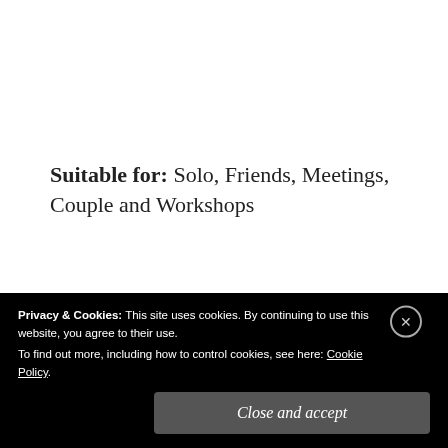Suitable for: Solo, Friends, Meetings, Couple and Workshops
Ignore: Has to be the famous Bangalore Traffic, if you are coming here from another part of the town
Privacy & Cookies: This site uses cookies. By continuing to use this website, you agree to their use.
To find out more, including how to control cookies, see here: Cookie Policy.
Close and accept